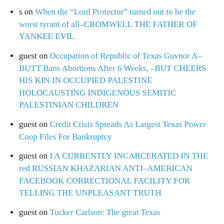s on When the “Lord Protector” turned out to be the worst tyrant of all–CROMWELL THE FATHER OF YANKEE EVIL
guest on Occupation of Republic of Texas Guvnor A–BUTT Bans Abortions After 6 Weeks, –BUT CHEERS HIS KIN IN OCCUPIED PALESTINE HOLOCAUSTING INDIGENOUS SEMITIC PALESTINIAN CHILDREN
guest on Credit Crisis Spreads As Largest Texas Power Coop Files For Bankruptcy
guest on I A CURRENTLY INCARCERATED IN THE red RUSSIAN KHAZARIAN ANTI–AMERICAN FACEBOOK CORRECTIONAL FACILITY FOR TELLING THE UNPLEASANT TRUTH
guest on Tucker Carlson: The great Texas